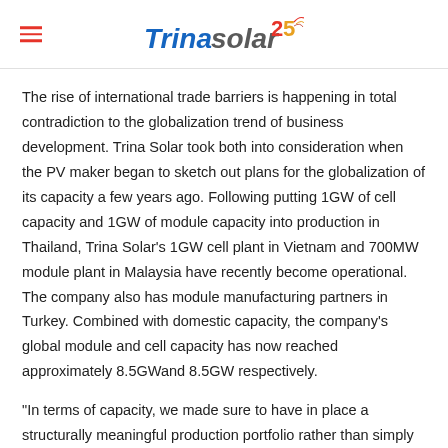Trina Solar 25
The rise of international trade barriers is happening in total contradiction to the globalization trend of business development. Trina Solar took both into consideration when the PV maker began to sketch out plans for the globalization of its capacity a few years ago. Following putting 1GW of cell capacity and 1GW of module capacity into production in Thailand, Trina Solar's 1GW cell plant in Vietnam and 700MW module plant in Malaysia have recently become operational. The company also has module manufacturing partners in Turkey. Combined with domestic capacity, the company's global module and cell capacity has now reached approximately 8.5GWand 8.5GW respectively.
"In terms of capacity, we made sure to have in place a structurally meaningful production portfolio rather than simply pursuing scale, as we need to maintain the competitiveness and leadership of our own capacity," Mr. Gao said. Collaboration in terms of capacity with